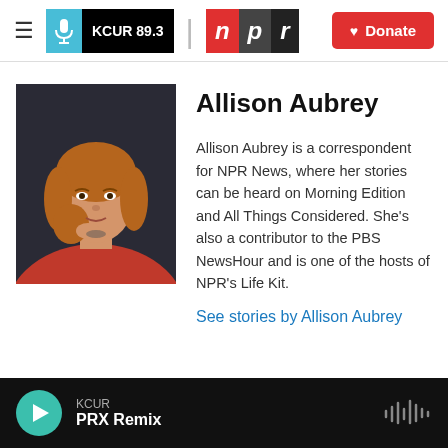KCUR 89.3 | npr | Donate
[Figure (photo): Photo of Allison Aubrey, a woman with medium-length auburn hair, wearing a red top, with hand near chin in a thoughtful pose, against a dark background.]
Allison Aubrey
Allison Aubrey is a correspondent for NPR News, where her stories can be heard on Morning Edition and All Things Considered. She's also a contributor to the PBS NewsHour and is one of the hosts of NPR's Life Kit.
See stories by Allison Aubrey
KCUR PRX Remix